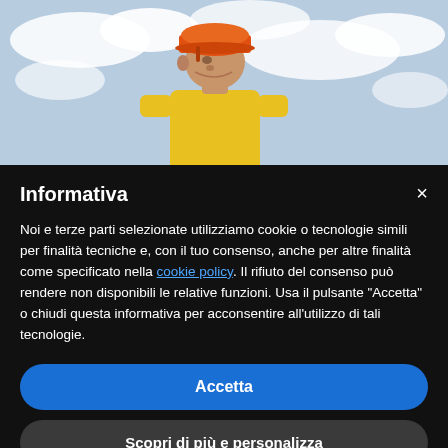[Figure (photo): Worker wearing an orange hard hat and yellow shirt, looking downward, against a cloudy sky background. Cookie consent modal overlay in the lower portion.]
Informativa
Noi e terze parti selezionate utilizziamo cookie o tecnologie simili per finalità tecniche e, con il tuo consenso, anche per altre finalità come specificato nella cookie policy. Il rifiuto del consenso può rendere non disponibili le relative funzioni. Usa il pulsante "Accetta" o chiudi questa informativa per acconsentire all'utilizzo di tali tecnologie.
Accetta
Scopri di più e personalizza